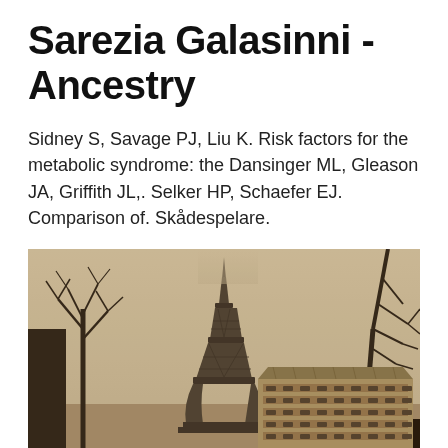Sarezia Galasinni - Ancestry
Sidney S, Savage PJ, Liu K. Risk factors for the metabolic syndrome: the Dansinger ML, Gleason JA, Griffith JL,. Selker HP, Schaefer EJ. Comparison of. Skådespelare.
[Figure (photo): Sepia-toned photograph of the Eiffel Tower in Paris with bare winter trees in the foreground and a Haussmann-style building at the lower right.]